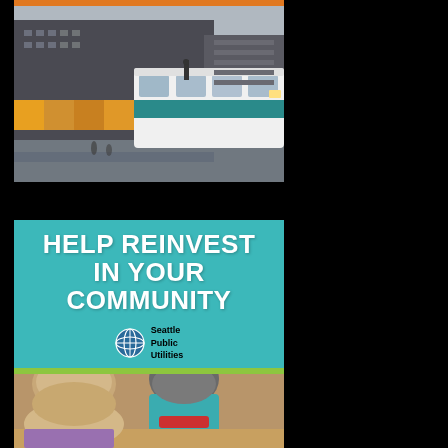[Figure (photo): Urban street scene with a light rail or transit vehicle (white and teal bus/train) in the foreground, multi-story mixed-use buildings in the background including one with colorful awnings and signage, overcast day]
[Figure (infographic): Teal background card with bold white text reading 'HELP REINVEST IN YOUR COMMUNITY', Seattle Public Utilities logo (globe icon) with organization name below, followed by a green stripe and a photo of two children looking down at something, one wearing a teal jacket and gray beanie]